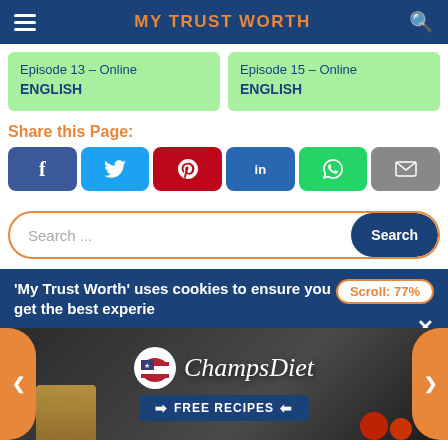MY TRUST WORTH
Episode 13 – Online
ENGLISH
Episode 15 – Online
ENGLISH
Share this Page:
[Figure (screenshot): Social share buttons: Facebook, Twitter, Pinterest, LinkedIn, WhatsApp, Email]
[Figure (screenshot): Search bar with placeholder 'Search ...' and a Search button]
'My Trust Worth' uses cookies to ensure you get the best experie...
[Figure (advertisement): ChampsDiet advertisement banner with FREE RECIPES button, food images, and navigation arrows. Scroll: 77% badge shown.]